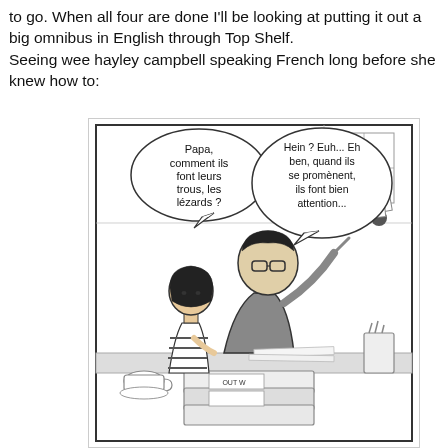to go. When all four are done I'll be looking at putting it out a big omnibus in English through Top Shelf. Seeing wee hayley campbell speaking French long before she knew how to:
[Figure (illustration): A black and white comic panel showing a young girl with a bob haircut in a striped shirt asking a man with glasses who is seated at a cluttered drawing desk: 'Papa, comment ils font leurs trous, les lézards?' The man replies: 'Hein ? Euh... Eh ben, quand ils se promènent, ils font bien attention...' The desk has stacked binders, papers, a coffee cup, and art supplies.]